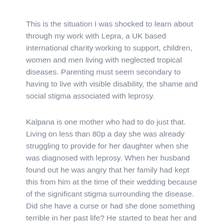This is the situation I was shocked to learn about through my work with Lepra, a UK based international charity working to support, children, women and men living with neglected tropical diseases. Parenting must seem secondary to having to live with visible disability, the shame and social stigma associated with leprosy.
Kalpana is one mother who had to do just that. Living on less than 80p a day she was already struggling to provide for her daughter when she was diagnosed with leprosy. When her husband found out he was angry that her family had kept this from him at the time of their wedding because of the significant stigma surrounding the disease. Did she have a curse or had she done something terrible in her past life? He started to beat her and eventually, five years later, she ended up in hospital with a broken leg. When she arrived back home her belongings had been thrown out of the house along with her four-year old daughter.